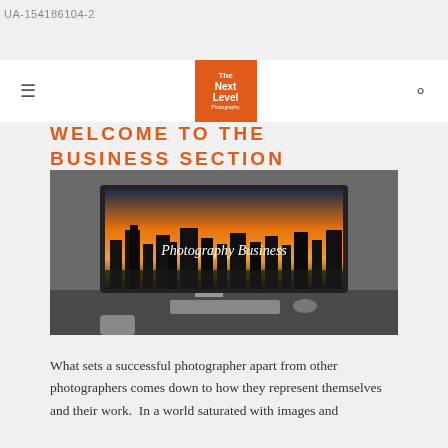UA-154186104-2
[Figure (logo): The Next Level Photography logo — orange square with white text]
WELCOME TO THE BUSINESS SECTION
[Figure (photo): A monitor on a desk displaying a cityscape at sunset with the text 'Photography Business' overlaid on a dark background]
What sets a successful photographer apart from other photographers comes down to how they represent themselves and their work.  In a world saturated with images and